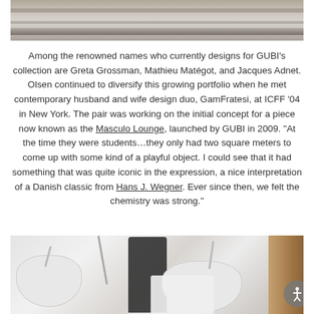[Figure (photo): Top portion of a photo showing what appears to be a wooden or concrete surface with architectural details, light gray tones.]
Among the renowned names who currently designs for GUBI’s collection are Greta Grossman, Mathieu Matégot, and Jacques Adnet. Olsen continued to diversify this growing portfolio when he met contemporary husband and wife design duo, GamFratesi, at ICFF ’04 in New York. The pair was working on the initial concept for a piece now known as the Masculo Lounge, launched by GUBI in 2009. “At the time they were students…they only had two square meters to come up with some kind of a playful object. I could see that it had something that was quite iconic in the expression, a nice interpretation of a Danish classic from Hans J. Wegner. Ever since then, we felt the chemistry was strong.”
[Figure (photo): Bottom portion of a photo showing lamps and a person in a design studio setting, with white pendant lamps and what appears to be a wooden beam on the right.]